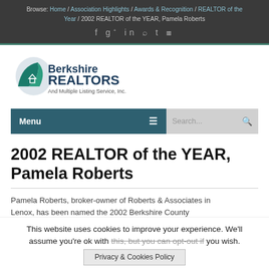Browse: Home / Association Highlights / Awards & Recognition / REALTOR of the Year / 2002 REALTOR of the YEAR, Pamela Roberts
[Figure (logo): Berkshire REALTORS And Multiple Listing Service, Inc. logo with leaf/house icon in teal and dark blue]
Menu [hamburger icon] | Search...
2002 REALTOR of the YEAR, Pamela Roberts
Pamela Roberts, broker-owner of Roberts & Associates in Lenox, has been named the 2002 Berkshire County...
This website uses cookies to improve your experience. We'll assume you're ok with this, but you can opt-out if you wish.